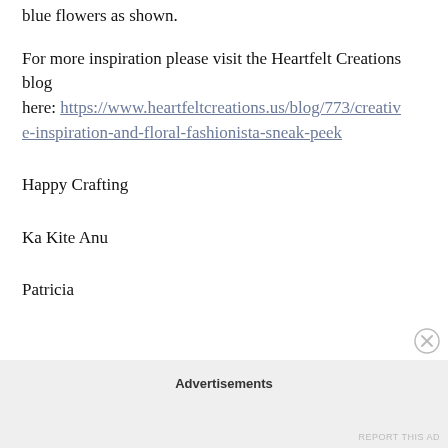blue flowers as shown.
For more inspiration please visit the Heartfelt Creations blog here: https://www.heartfeltcreations.us/blog/773/creative-inspiration-and-floral-fashionista-sneak-peek
Happy Crafting
Ka Kite Anu
Patricia
Advertisements
REPORT THIS AD